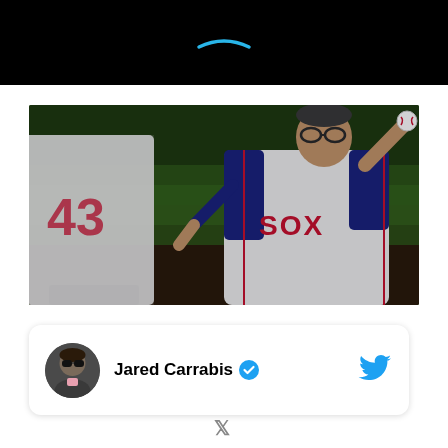[Figure (screenshot): Top portion of a video player with black background and a small cyan/blue curved smile/swoosh icon visible in the center]
[Figure (photo): Baseball photo showing a man in a Boston Red Sox white jersey throwing a ceremonial first pitch on a baseball field at night. A player wearing number 43 is visible in the blurred foreground facing away from the camera.]
Jared Carrabis (verified Twitter user) — tweet card with Twitter bird icon